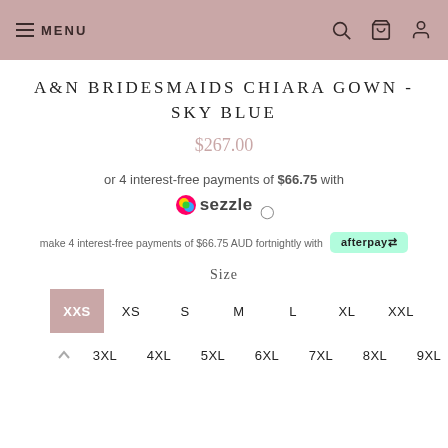MENU
A&N BRIDESMAIDS CHIARA GOWN - SKY BLUE
$267.00
or 4 interest-free payments of $66.75 with sezzle
make 4 interest-free payments of $66.75 AUD fortnightly with afterpay
Size
XXS XS S M L XL XXL 3XL 4XL 5XL 6XL 7XL 8XL 9XL